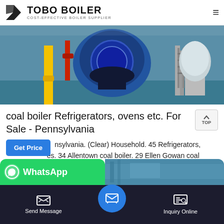[Figure (logo): Tobo Boiler logo with black geometric icon and bold text 'TOBO BOILER', subtitle 'COST-EFFECTIVE BOILER SUPPLIER']
[Figure (photo): Industrial boiler room photo showing large blue cylindrical boiler vessel with yellow and red pipes, machinery components on a blue floor]
coal boiler Refrigerators, ovens etc. For Sale - Pennsylvania
nsylvania. (Clear) Household. 45 Refrigerators, es. 34 Allentown coal boiler. 29 Ellen Gowan coal boiler. 4 Volant coal boiler. 2 Altoona coal boiler.
[Figure (screenshot): WhatsApp green button bar and industrial image on the right, with dark bottom navigation bar showing Send Message and Inquiry Online buttons]